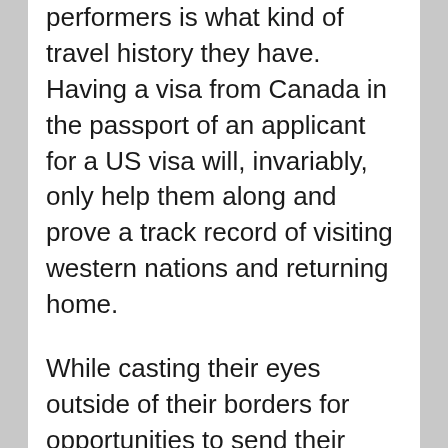performers is what kind of travel history they have. Having a visa from Canada in the passport of an applicant for a US visa will, invariably, only help them along and prove a track record of visiting western nations and returning home.
While casting their eyes outside of their borders for opportunities to send their talent abroad, OWE has not forgotten the need to bring international talent into the Chinese mainland. Their roster needs new, physically and stylistically diverse talent to work with, one way or another. One of the best side effects of this has been that